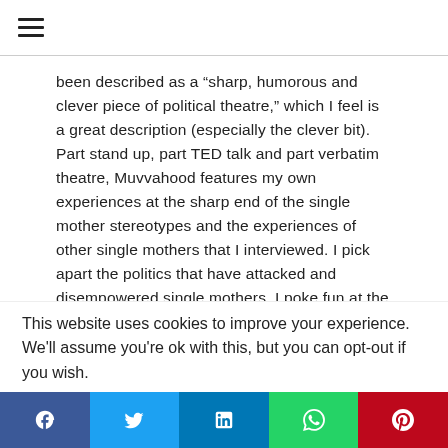☰
been described as a “sharp, humorous and clever piece of political theatre,” which I feel is a great description (especially the clever bit). Part stand up, part TED talk and part verbatim theatre, Muvvahood features my own experiences at the sharp end of the single mother stereotypes and the experiences of other single mothers that I interviewed. I pick apart the politics that have attacked and disempowered single mothers, I poke fun at the stereotypes that have seeped into society’s consciousness and I explore the emotional issues surrounding single
This website uses cookies to improve your experience. We'll assume you're ok with this, but you can opt-out if you wish.
f | Twitter | in | WhatsApp | Pinterest